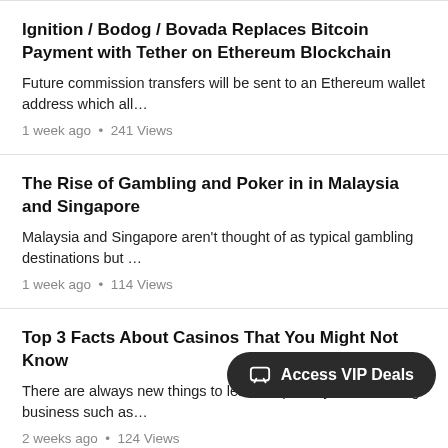Ignition / Bodog / Bovada Replaces Bitcoin Payment with Tether on Ethereum Blockchain
Future commission transfers will be sent to an Ethereum wallet address which all...
1 week ago  •  241 Views
The Rise of Gambling and Poker in in Malaysia and Singapore
Malaysia and Singapore aren't thought of as typical gambling destinations but ...
1 week ago  •  114 Views
Top 3 Facts About Casinos That You Might Not Know
There are always new things to learn, especially in an exciting business such as...
2 weeks ago  •  124 Views
Win Branded Merchandise
From Monday to Saturday the top three finishers in the